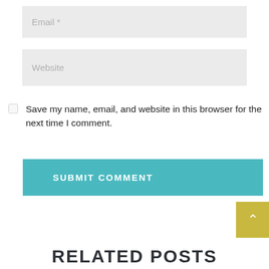Email *
Website
Save my name, email, and website in this browser for the next time I comment.
SUBMIT COMMENT
RELATED POSTS